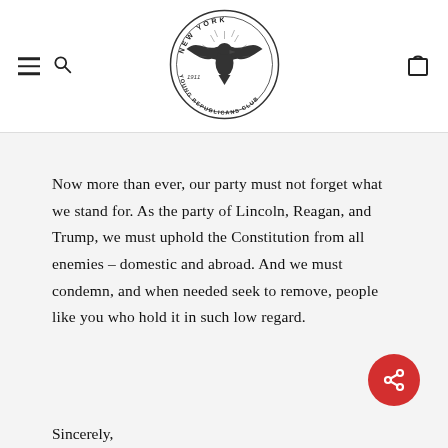[Figure (logo): New York Young Republicans Club circular logo with eagle, dated 1911]
Now more than ever, our party must not forget what we stand for. As the party of Lincoln, Reagan, and Trump, we must uphold the Constitution from all enemies – domestic and abroad. And we must condemn, and when needed seek to remove, people like you who hold it in such low regard.
Sincerely,